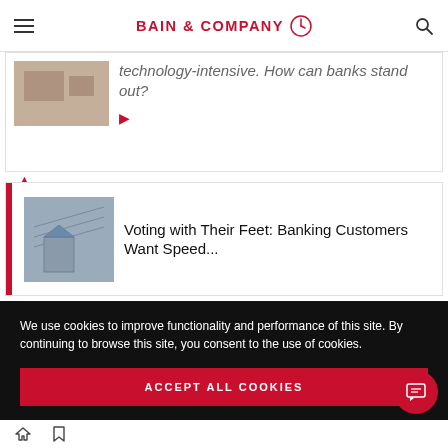BAIN & COMPANY
technology-intensive. How can banks stand out?
[Figure (screenshot): Partial article card showing cropped image and italic text 'technology-intensive. How can banks stand out?' with red play arrow]
[Figure (screenshot): Article card with red left bar, blueprint-style image on left, and title 'Voting with Their Feet: Banking Customers Want Speed...']
Voting with Their Feet: Banking Customers Want Speed...
We use cookies to improve functionality and performance of this site. By continuing to browse this site, you consent to the use of cookies.
ACCEPT ALL COOKIES